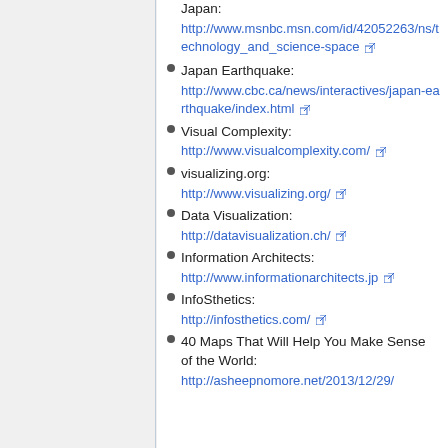Japan:
http://www.msnbc.msn.com/id/42052263/ns/technology_and_science-space
Japan Earthquake:
http://www.cbc.ca/news/interactives/japan-earthquake/index.html
Visual Complexity:
http://www.visualcomplexity.com/
visualizing.org:
http://www.visualizing.org/
Data Visualization:
http://datavisualization.ch/
Information Architects:
http://www.informationarchitects.jp
InfoSthetics:
http://infosthetics.com/
40 Maps That Will Help You Make Sense of the World:
http://asheepnomore.net/2013/12/29/